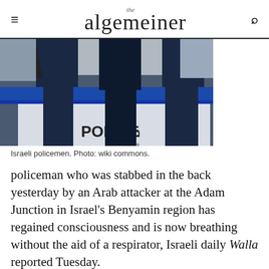the algemeiner
[Figure (photo): Israeli policemen standing next to a blue and white police car with Hebrew text]
Israeli policemen. Photo: wiki commons.
policeman who was stabbed in the back yesterday by an Arab attacker at the Adam Junction in Israel's Benyamin region has regained consciousness and is now breathing without the aid of a respirator, Israeli daily Walla reported Tuesday.
The policeman, 41-year-old Rami Ravid, is currently being treated at the intensive care unit of Jerusalem's Shaare Zedek Medical Center. His